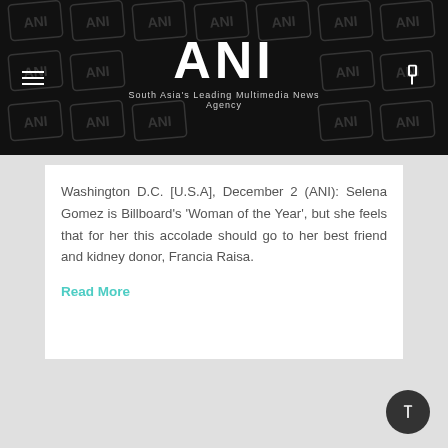ANI — South Asia's Leading Multimedia News Agency
Washington D.C. [U.S.A], December 2 (ANI): Selena Gomez is Billboard's 'Woman of the Year', but she feels that for her this accolade should go to her best friend and kidney donor, Francia Raisa.
Read More